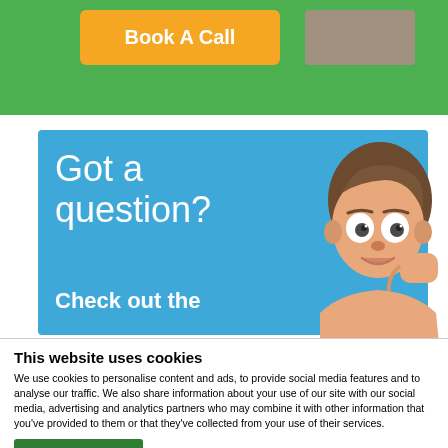[Figure (screenshot): Green banner with orange 'Book A Call' button and a grey placeholder box]
[Figure (illustration): Blue banner with white text 'Got a question? Check out the' and a cartoon confused man illustration]
This website uses cookies
We use cookies to personalise content and ads, to provide social media features and to analyse our traffic. We also share information about your use of our site with our social media, advertising and analytics partners who may combine it with other information that you've provided to them or that they've collected from your use of their services.
Allow all cookies
Show details